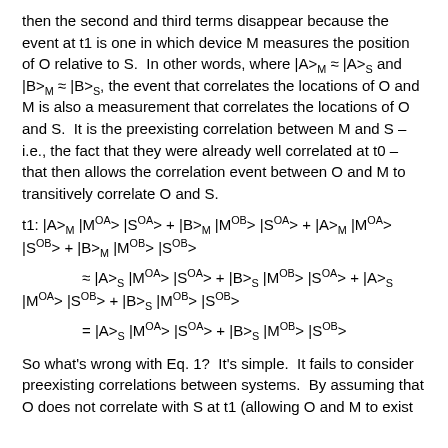then the second and third terms disappear because the event at t1 is one in which device M measures the position of O relative to S.  In other words, where |A>M ≈ |A>S and |B>M ≈ |B>S, the event that correlates the locations of O and M is also a measurement that correlates the locations of O and S.  It is the preexisting correlation between M and S – i.e., the fact that they were already well correlated at t0 – that then allows the correlation event between O and M to transitively correlate O and S.
So what's wrong with Eq. 1?  It's simple.  It fails to consider preexisting correlations between systems.  By assuming that O does not correlate with S at t1 (allowing O and M to exist